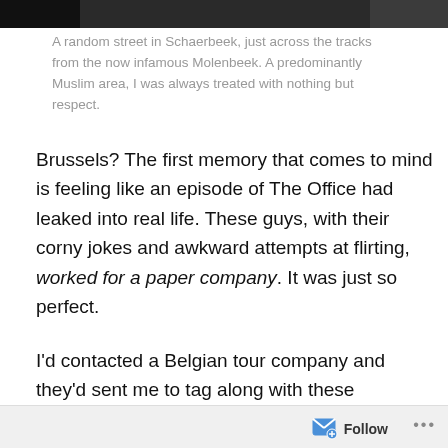[Figure (photo): Top portion of a photograph showing a dark scene, partially cropped at the top of the page]
A random street in Schaerbeek, just across the tracks from the now infamous Molenbeek. A predominantly Muslim area, I was always treated with nothing but respect.
Brussels? The first memory that comes to mind is feeling like an episode of The Office had leaked into real life. These guys, with their corny jokes and awkward attempts at flirting, worked for a paper company. It was just so perfect.
I'd contacted a Belgian tour company and they'd sent me to tag along with these business trippers for an hour. I was fascinated by the improbable story of Belgian
Follow ...